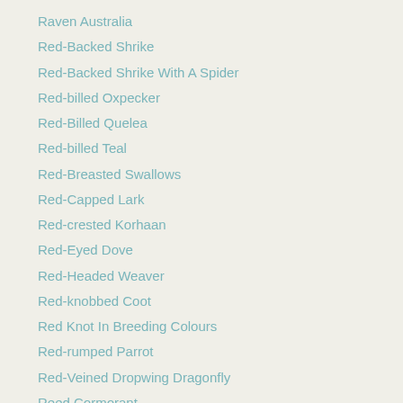Raven Australia
Red-Backed Shrike
Red-Backed Shrike With A Spider
Red-billed Oxpecker
Red-Billed Quelea
Red-billed Teal
Red-Breasted Swallows
Red-Capped Lark
Red-crested Korhaan
Red-Eyed Dove
Red-Headed Weaver
Red-knobbed Coot
Red Knot In Breeding Colours
Red-rumped Parrot
Red-Veined Dropwing Dragonfly
Reed Cormorant
Rock Hyrax, Dassie
Rock Kestrel
Rock Monitor
Rosella, Crimson